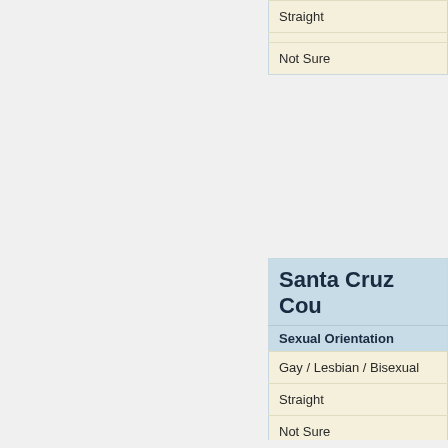| Sexual Orientation |
| --- |
| Gay / Lesbian / Bisexual |
| Straight |
| Not Sure |
| Santa Cruz Cou... | Sexual Orientation |
| --- | --- |
| Gay / Lesbian / Bisexual |
| Straight |
| Not Sure |
| Shasta County | Sexual Orientation |
| --- | --- |
| Gay / Lesbian / Bisexual |
| Straight |